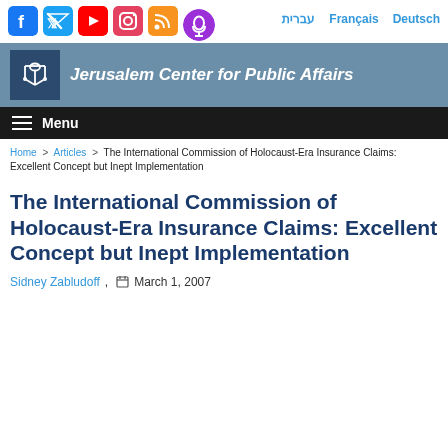Social icons: Facebook, Twitter, YouTube, Instagram, RSS, Podcast | Language links: עברית, Français, Deutsch
[Figure (logo): Jerusalem Center for Public Affairs logo with menorah-like symbol on dark blue background and organization name in white bold italic text on steel blue banner]
Menu
Home > Articles > The International Commission of Holocaust-Era Insurance Claims: Excellent Concept but Inept Implementation
The International Commission of Holocaust-Era Insurance Claims: Excellent Concept but Inept Implementation
Sidney Zabludoff,  March 1, 2007